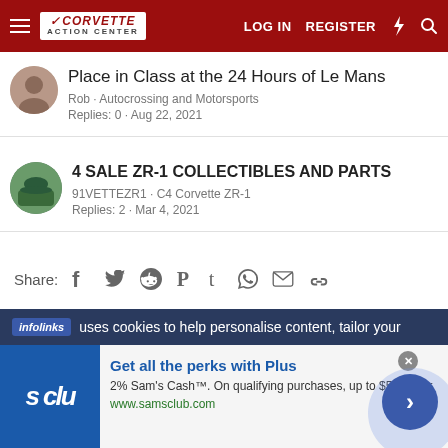Corvette Action Center — LOG IN  REGISTER
Place in Class at the 24 Hours of Le Mans
Rob · Autocrossing and Motorsports
Replies: 0 · Aug 22, 2021
4 SALE ZR-1 COLLECTIBLES AND PARTS
91VETTEZR1 · C4 Corvette ZR-1
Replies: 2 · Mar 4, 2021
Share:  [social icons: Facebook, Twitter, Reddit, Pinterest, Tumblr, WhatsApp, Email, Link]
infolinks  uses cookies to help personalise content, tailor your
[Figure (screenshot): Sam's Club advertisement: 'Get all the perks with Plus', 2% Sam's Cash on qualifying purchases up to $500/year, www.samsclub.com, with blue s club logo and navigation arrow button]